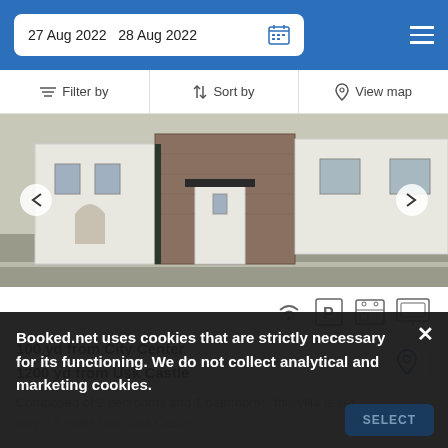27 Aug 2022   28 Aug 2022
Filter by   Sort by   View map
[Figure (photo): Street-level photo of a row of white-rendered and stone cottages with white doors, beside a road. Partially visible signage reading 'OSTLERS BELL'.]
100 yd from City Center
1200 yd from Usk Castle
Composed of 2 bedrooms and 1 bathrooms, this villa is set only 0.5 miles from Usk Castle
Booked.net uses cookies that are strictly necessary for its functioning. We do not collect analytical and marketing cookies.